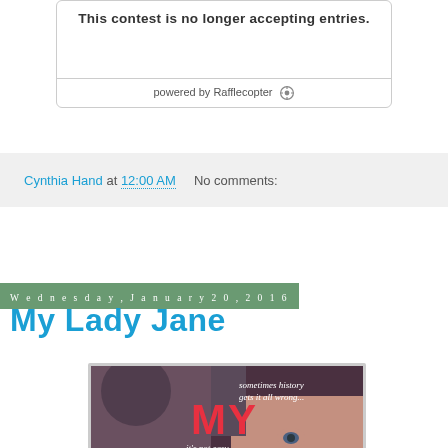[Figure (screenshot): Contest widget box with text 'This contest is no longer accepting entries.' and 'powered by Rafflecopter' footer]
Cynthia Hand at 12:00 AM    No comments:
Wednesday, January 20, 2016
My Lady Jane
[Figure (photo): Book cover image for 'My Lady Jane' showing a woman in historical style with text 'sometimes history gets it all wrong... MY ... it's not easy...' in red and white lettering]